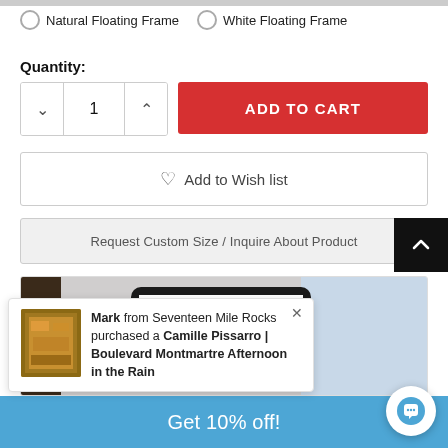Natural Floating Frame
White Floating Frame
Quantity:
1
ADD TO CART
Add to Wish list
Request Custom Size / Inquire About Product
[Figure (photo): AR/tablet preview of artwork in room setting]
Mark from Seventeen Mile Rocks purchased a Camille Pissarro | Boulevard Montmartre Afternoon in the Rain
Get 10% off!